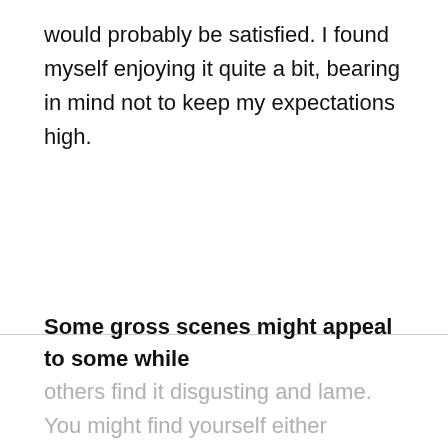would probably be satisfied. I found myself enjoying it quite a bit, bearing in mind not to keep my expectations high.
Some gross scenes might appeal to some while
others find it disgusting and lame. You might find yourself either grossed out or laughing out loud at the